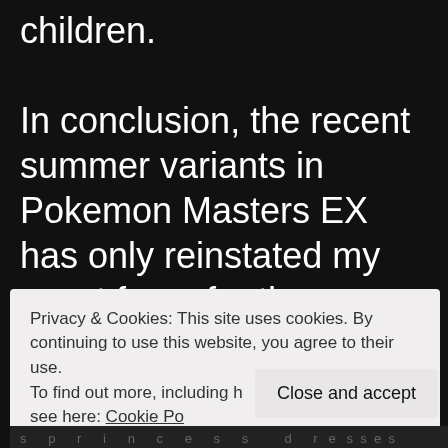children.

In conclusion, the recent summer variants in Pokemon Masters EX has only reinstated my worst fears for the game because of my knowledge of swimsuits being
Privacy & Cookies: This site uses cookies. By continuing to use this website, you agree to their use.
To find out more, including h[ow to control] cookies, see here: Cookie Po[licy]
Close and accept